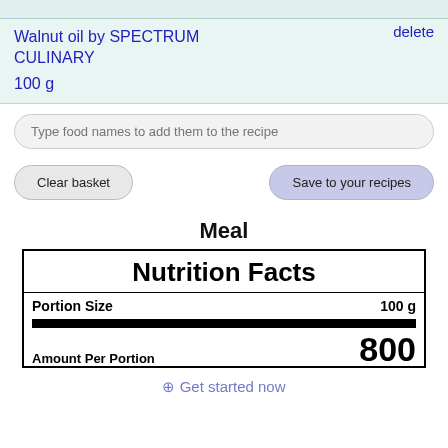Walnut oil by SPECTRUM CULINARY
delete
100 g
Type food names to add them to the recipe
Clear basket
Save to your recipes
Meal
| Nutrition Facts |
| Portion Size | 100 g |
| Amount Per Portion | 800 |
⊕ Get started now